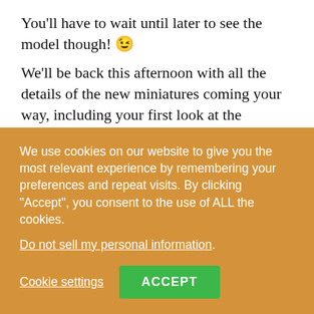You'll have to wait until later to see the model though! 😉
We'll be back this afternoon with all the details of the new miniatures coming your way, including your first look at the Ceneleon. All of which are heading to the TTCombat webstore today!
Share this:
[Figure (screenshot): Share buttons: Tweet (Twitter/blue), Post (Tumblr/dark), Save (Pinterest/red), count badge showing 7, More button]
We use cookies on our website to give you the most relevant experience by remembering your preferences and repeat visits. By clicking "Accept", you consent to the use of ALL the cookies. Do not sell my personal information.
Cookie settings  ACCEPT